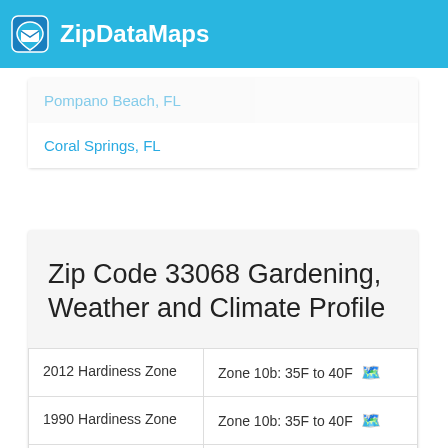ZipDataMaps
Pompano Beach, FL
Coral Springs, FL
Zip Code 33068 Gardening, Weather and Climate Profile
|  |  |
| --- | --- |
| 2012 Hardiness Zone | Zone 10b: 35F to 40F 🗺 |
| 1990 Hardiness Zone | Zone 10b: 35F to 40F 🗺 |
| Köppen Climate Classification | Am - Tropical Monsoon 🚩 |
| Ecoregion | 76a - Miami Ridge/Atlantic... |